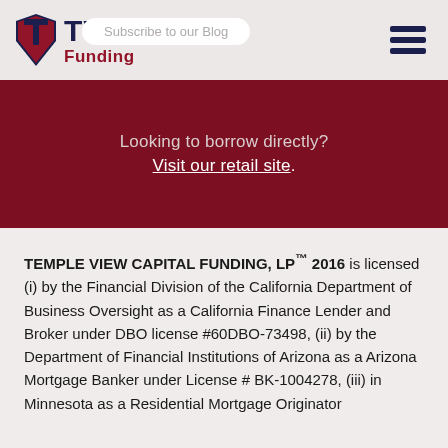TVC Funding — Subscribe to our Blog
Looking to borrow directly? Visit our retail site.
TEMPLE VIEW CAPITAL FUNDING, LP™ 2016 is licensed (i) by the Financial Division of the California Department of Business Oversight as a California Finance Lender and Broker under DBO license #60DBO-73498, (ii) by the Department of Financial Institutions of Arizona as a Arizona Mortgage Banker under License # BK-1004278, (iii) in Minnesota as a Residential Mortgage Originator